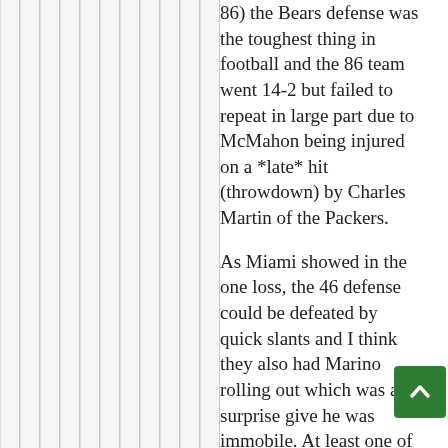86) the Bears defense was the toughest thing in football and the 86 team went 14-2 but failed to repeat in large part due to McMahon being injured on a *late* hit (throwdown) by Charles Martin of the Packers.
As Miami showed in the one loss, the 46 defense could be defeated by quick slants and I think they also had Marino rolling out which was a surprise give he was immobile. At least one of Miami's TDs in being 24-0 up at halftime was some kind of flukey